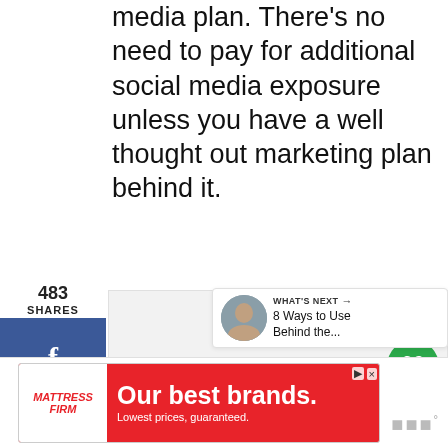media plan. There's no need to pay for additional social media exposure unless you have a well thought out marketing plan behind it.
483 SHARES
[Figure (screenshot): Social sharing sidebar with Facebook, Pinterest, and email buttons on the left side]
[Figure (screenshot): Right side widget showing heart/like button with 489 count and share button]
[Figure (screenshot): What's Next panel showing '8 Ways to Use Behind the...' with thumbnail image]
[Figure (screenshot): Mattress Firm advertisement banner: Our best brands. Lowest prices, guaranteed.]